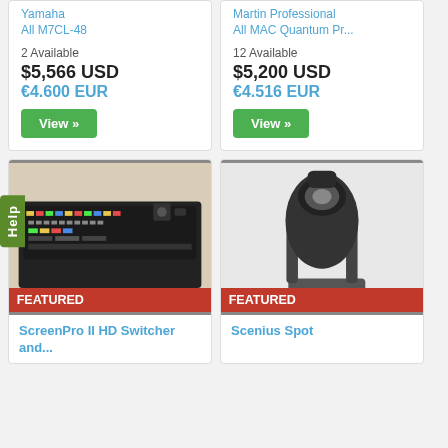Yamaha
All M7CL-48
2 Available
$5,566 USD
€4.600 EUR
Martin Professional
All MAC Quantum Pr...
12 Available
$5,200 USD
€4.516 EUR
[Figure (photo): ScreenPro II HD Switcher and lighting controller panel with joystick, labeled FEATURED]
ScreenPro II HD Switcher and...
[Figure (photo): Scenius Spot moving head stage light on stand, labeled FEATURED]
Scenius Spot